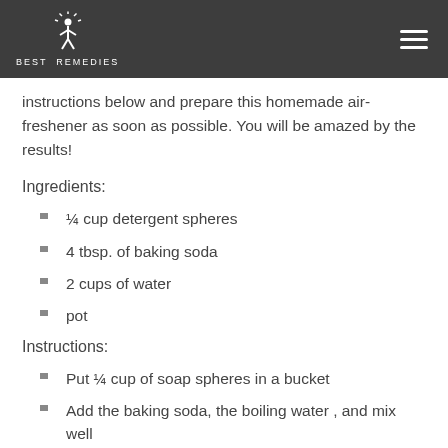BEST REMEDIES
instructions below and prepare this homemade air-freshener as soon as possible. You will be amazed by the results!
Ingredients:
¼ cup detergent spheres
4 tbsp. of baking soda
2 cups of water
pot
Instructions:
Put ¼ cup of soap spheres in a bucket
Add the baking soda, the boiling water , and mix well
Let it sit for about half an hour so that the ingredients completely dissolve
Pour the mixture into a spray bottle or aerosol can
Spray the homemade air-freshener on things like sofas,